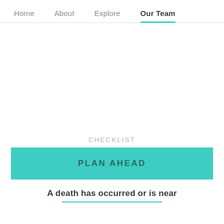Home   About   Explore   Our Team
CHECKLIST
PLAN AHEAD
A death has occurred or is near